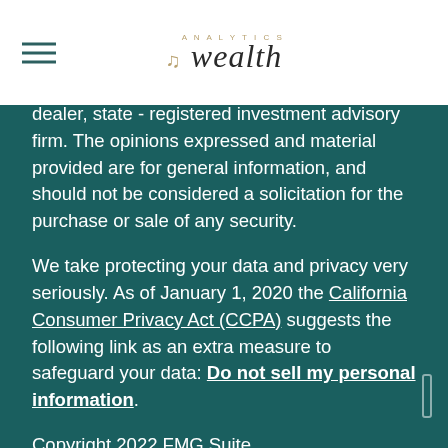Wealth Analytics
dealer, state - registered investment advisory firm. The opinions expressed and material provided are for general information, and should not be considered a solicitation for the purchase or sale of any security.
We take protecting your data and privacy very seriously. As of January 1, 2020 the California Consumer Privacy Act (CCPA) suggests the following link as an extra measure to safeguard your data: Do not sell my personal information.
Copyright 2022 FMG Suite.
Wealth Analytics provide non-legal financial analysis and divorce consulting services. Information is for general education purposes. This is not investment advice.